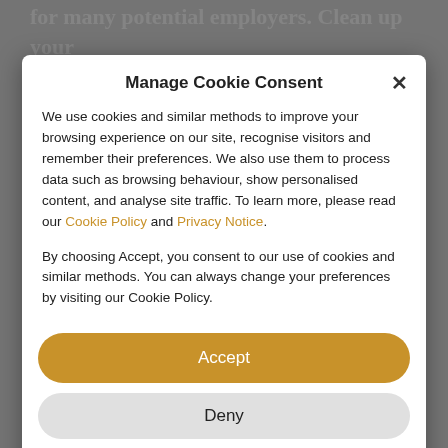for many potential employers. Clean up your social sites... showing is what you would display to your
Manage Cookie Consent
We use cookies and similar methods to improve your browsing experience on our site, recognise visitors and remember their preferences. We also use them to process data such as browsing behaviour, show personalised content, and analyse site traffic. To learn more, please read our Cookie Policy and Privacy Notice.
By choosing Accept, you consent to our use of cookies and similar methods. You can always change your preferences by visiting our Cookie Policy.
Accept
Deny
Preferences